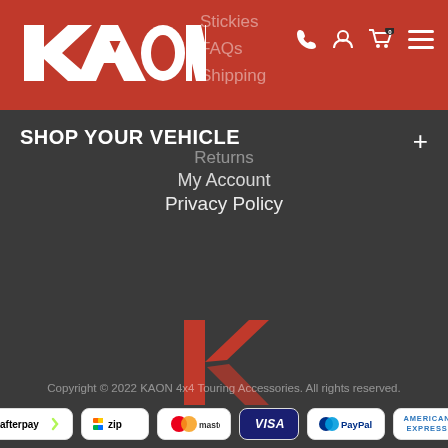[Figure (logo): KAON brand logo in white on red header background, with navigation icons (phone, account, cart with 0, hamburger menu)]
SHOP YOUR VEHICLE
Stickies
FAQs
Shipping
Returns
My Account
Privacy Policy
[Figure (logo): KAON K icon logo in red/orange on dark background, centered]
Copyright © 2022 KAON 4x4 Touring Accessories. All rights reserved.
[Figure (infographic): Payment method badges: afterpay, zip, mastercard, VISA, PayPal, AMERICAN EXPRESS]